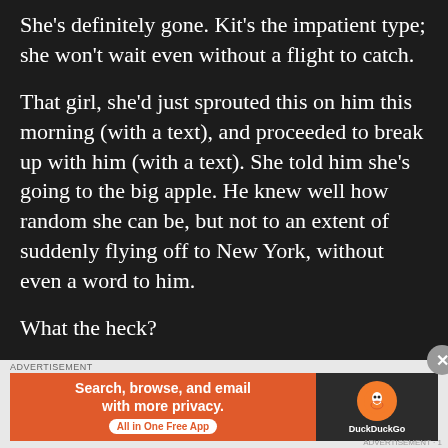She's definitely gone. Kit's the impatient type; she won't wait even without a flight to catch.
That girl, she'd just sprouted this on him this morning (with a text), and proceeded to break up with him (with a text). She told him she's going to the big apple. He knew well how random she can be, but not to an extent of suddenly flying off to New York, without even a word to him.
What the heck?
He couldn't reach her number; the apartment she rented was vacated. It was like she disappeared off the face of earth. He didn't even
[Figure (infographic): DuckDuckGo advertisement banner: orange background on left with text 'Search, browse, and email with more privacy. All in One Free App', dark background on right with DuckDuckGo logo]
ADVERTISEMENT · 1